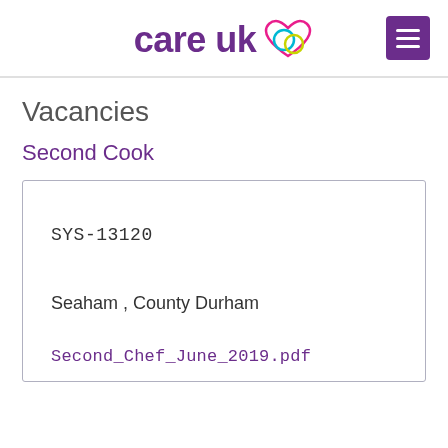[Figure (logo): Care UK logo with heart icon and purple hamburger menu button in top right]
Vacancies
Second Cook
| SYS-13120 |
| Seaham , County Durham |
| Second_Chef_June_2019.pdf |